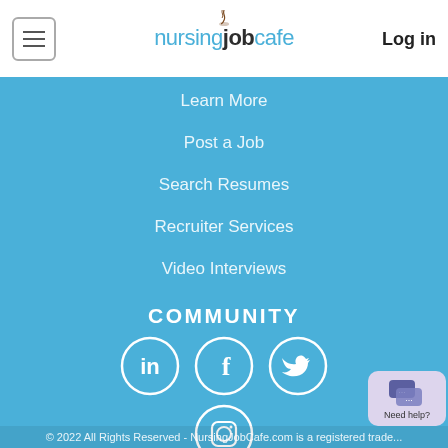nursingjobcafe — Log in
Learn More
Post a Job
Search Resumes
Recruiter Services
Video Interviews
COMMUNITY
[Figure (illustration): Social media icons in white circles on blue background: LinkedIn, Facebook, Twitter, Instagram]
© 2022 All Rights Reserved - NursingJobCafe.com is a registered trade...